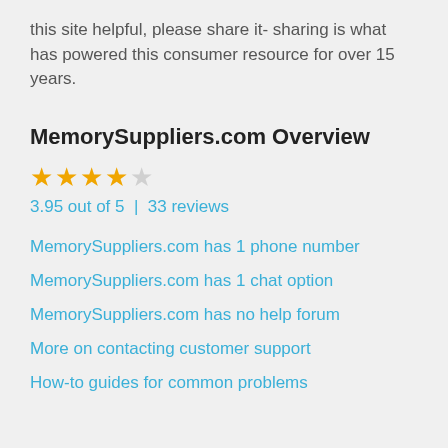this site helpful, please share it- sharing is what has powered this consumer resource for over 15 years.
MemorySuppliers.com Overview
[Figure (other): Star rating display showing 3.95 out of 5 stars (4 filled, 1 empty)]
3.95 out of 5 | 33 reviews
MemorySuppliers.com has 1 phone number
MemorySuppliers.com has 1 chat option
MemorySuppliers.com has no help forum
More on contacting customer support
How-to guides for common problems